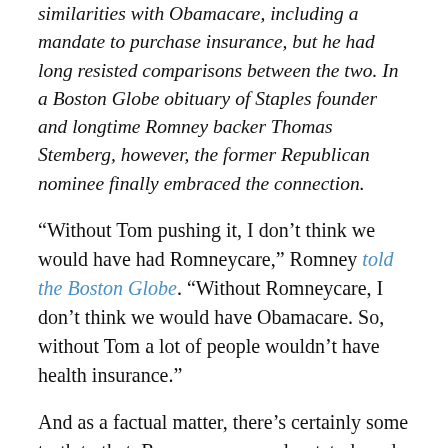similarities with Obamacare, including a mandate to purchase insurance, but he had long resisted comparisons between the two. In a Boston Globe obituary of Staples founder and longtime Romney backer Thomas Stemberg, however, the former Republican nominee finally embraced the connection.
“Without Tom pushing it, I don’t think we would have had Romneycare,” Romney told the Boston Globe. “Without Romneycare, I don’t think we would have Obamacare. So, without Tom a lot of people wouldn’t have health insurance.”
And as a factual matter, there’s certainly some truth to that. Romney approved a state-based law that served as an effective blueprint for President Obama’s federal model. The two-time failed Republican presidential